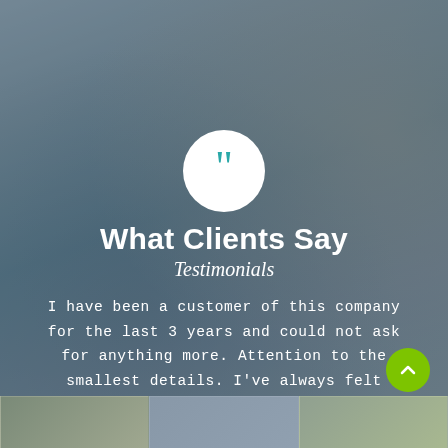[Figure (photo): Background photo of a smiling woman with blonde hair, blurred, with dark overlay. A white circular badge with teal quotation marks is centered near the top.]
What Clients Say
Testimonials
I have been a customer of this company for the last 3 years and could not ask for anything more. Attention to the smallest details. I've always felt safe having a SmartClean staff in my home.
Julie Brown
[Figure (photo): Row of three small circular thumbnail photos at the bottom of the page representing other testimonial clients.]